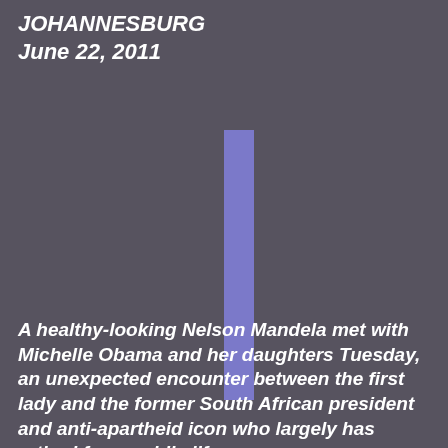JOHANNESBURG
June 22, 2011
[Figure (other): A vertical purple/blue rectangular bar centered horizontally on the page, serving as a decorative or section-divider graphic element.]
A healthy-looking Nelson Mandela met with Michelle Obama and her daughters Tuesday, an unexpected encounter between the first lady and the former South African president and anti-apartheid icon who largely has retired from public life.